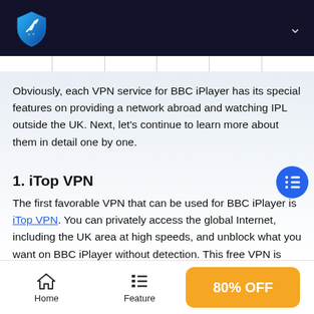iTop VPN navigation bar with logo
Obviously, each VPN service for BBC iPlayer has its special features on providing a network abroad and watching IPL outside the UK. Next, let's continue to learn more about them in detail one by one.
1. iTop VPN
The first favorable VPN that can be used for BBC iPlayer is iTop VPN. You can privately access the global Internet, including the UK area at high speeds, and unblock what you want on BBC iPlayer without detection. This free VPN is adaptable for Windows 11/10/8/7, Mac, iOS and Android. With a clear and fashionable interface, it provides unlimited free and highly secure VPN for users in one click. Besides
Home  Feature  80% OFF